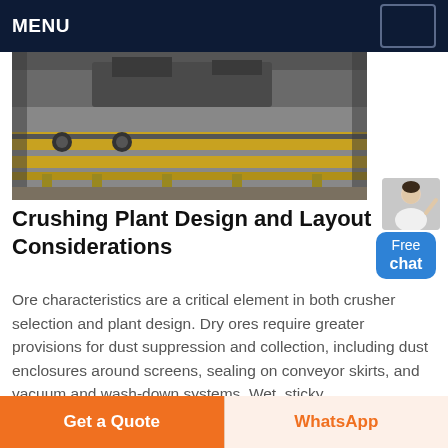MENU
[Figure (photo): Photograph of a crushing plant showing yellow-framed conveyor belt structure with large machinery and industrial equipment in a grey dusty facility]
Crushing Plant Design and Layout Considerations
Ore characteristics are a critical element in both crusher selection and plant design. Dry ores require greater provisions for dust suppression and collection, including dust enclosures around screens, sealing on conveyor skirts, and vacuum and wash-down systems. Wet, sticky